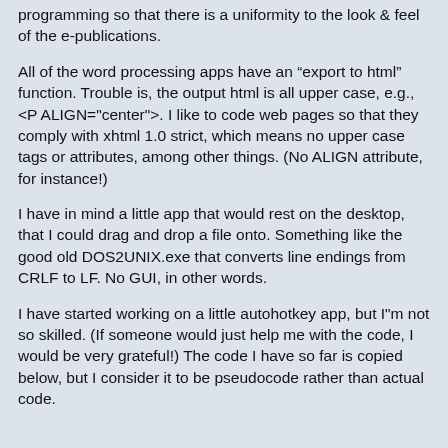programming so that there is a uniformity to the look & feel of the e-publications.
All of the word processing apps have an “export to html” function. Trouble is, the output html is all upper case, e.g., <P ALIGN="center">. I like to code web pages so that they comply with xhtml 1.0 strict, which means no upper case tags or attributes, among other things. (No ALIGN attribute, for instance!)
I have in mind a little app that would rest on the desktop, that I could drag and drop a file onto. Something like the good old DOS2UNIX.exe that converts line endings from CRLF to LF. No GUI, in other words.
I have started working on a little autohotkey app, but I"m not so skilled. (If someone would just help me with the code, I would be very grateful!) The code I have so far is copied below, but I consider it to be pseudocode rather than actual code.